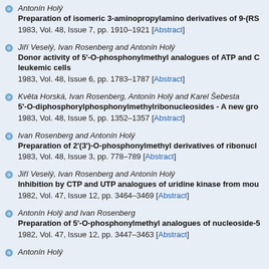Antonín Holý
Preparation of isomeric 3-aminopropylamino derivatives of 9-(RS...
1983, Vol. 48, Issue 7, pp. 1910–1921 [Abstract]
Jiří Veselý, Ivan Rosenberg and Antonín Holý
Donor activity of 5'-O-phosphonylmethyl analogues of ATP and C... leukemic cells
1983, Vol. 48, Issue 6, pp. 1783–1787 [Abstract]
Květa Horská, Ivan Rosenberg, Antonín Holý and Karel Šebesta
5'-O-diphosphorylphosphonylmethylribonucleosides - A new gro...
1983, Vol. 48, Issue 5, pp. 1352–1357 [Abstract]
Ivan Rosenberg and Antonín Holý
Preparation of 2'(3')-O-phosphonylmethyl derivatives of ribonucl...
1983, Vol. 48, Issue 3, pp. 778–789 [Abstract]
Jiří Veselý, Ivan Rosenberg and Antonín Holý
Inhibition by CTP and UTP analogues of uridine kinase from mou...
1982, Vol. 47, Issue 12, pp. 3464–3469 [Abstract]
Antonín Holý and Ivan Rosenberg
Preparation of 5'-O-phosphonylmethyl analogues of nucleoside-5...
1982, Vol. 47, Issue 12, pp. 3447–3463 [Abstract]
Antonín Holý